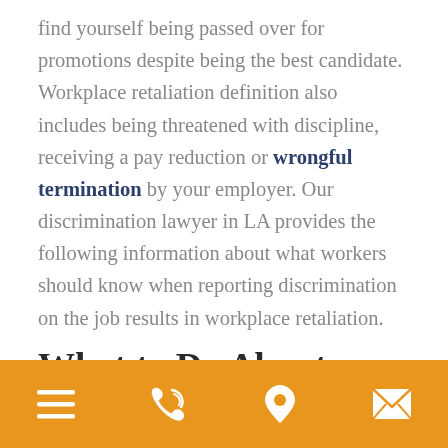find yourself being passed over for promotions despite being the best candidate. Workplace retaliation definition also includes being threatened with discipline, receiving a pay reduction or wrongful termination by your employer. Our discrimination lawyer in LA provides the following information about what workers should know when reporting discrimination on the job results in workplace retaliation.
What to Do About Retaliation in the Workplace for Reporting Discrimination
[Figure (other): Mobile navigation bottom bar with orange background containing four icons: hamburger menu, phone/call, location pin, and email envelope]